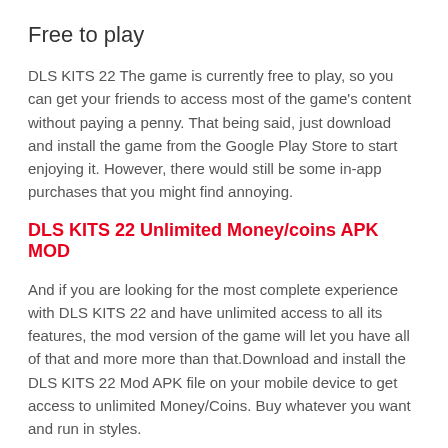Free to play
DLS KITS 22 The game is currently free to play, so you can get your friends to access most of the game's content without paying a penny. That being said, just download and install the game from the Google Play Store to start enjoying it. However, there would still be some in-app purchases that you might find annoying.
DLS KITS 22 Unlimited Money/coins APK MOD
And if you are looking for the most complete experience with DLS KITS 22 and have unlimited access to all its features, the mod version of the game will let you have all of that and more more than that.Download and install the DLS KITS 22 Mod APK file on your mobile device to get access to unlimited Money/Coins. Buy whatever you want and run in styles.
What's new
DLS KITS 22 Added New features